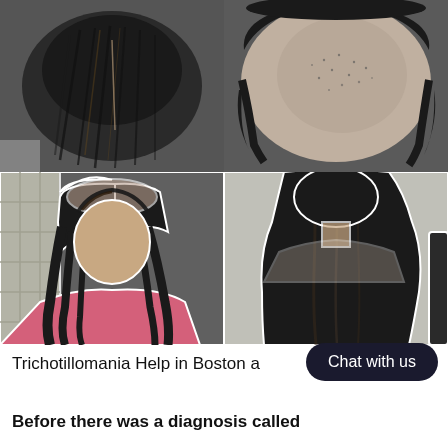[Figure (photo): Four-panel before-and-after photo collage showing trichotillomania hair loss. Top-left: top-down view of head with dark hair. Top-right: top-down view showing significant bald patch with stubble on crown. Bottom-left: woman in pink shirt with chin-length dark hair, looking down, showing thin hair on top. Bottom-right: back view of woman with long, full dark hair.]
Trichotillomania Help in Boston a
Before there was a diagnosis called